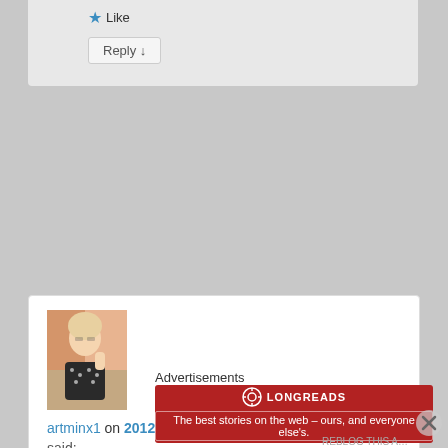[Figure (screenshot): Like button with blue star icon and Reply button in comment section]
[Figure (photo): Profile photo of artminx1 - woman with blonde hair in polka dot top]
artminx1 on 2012-12-12 at 14:21
said:
Simple and refreshing – a wee ray of sunshine to brighten the short day 🙂
Advertisements
[Figure (logo): Longreads advertisement banner - red background with text: The best stories on the web – ours, and everyone else's.]